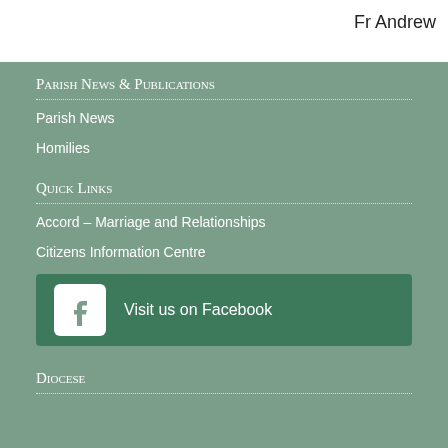Fr Andrew
Parish News & Publications
Parish News
Homilies
Quick Links
Accord – Marriage and Relationships
Citizens Information Centre
[Figure (other): Visit us on Facebook button with Facebook logo icon]
Diocese